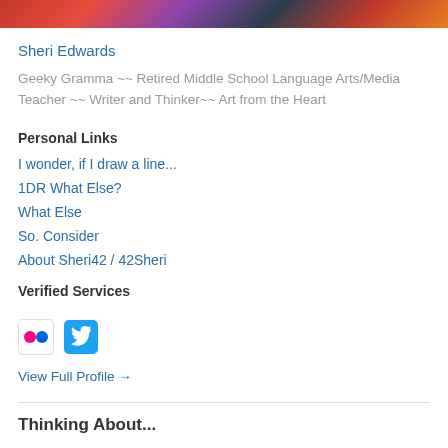[Figure (photo): Partial photo strip showing colorful clothing in red, purple, and dark tones]
Sheri Edwards
Geeky Gramma ~~ Retired Middle School Language Arts/Media Teacher ~~ Writer and Thinker~~ Art from the Heart
Personal Links
I wonder, if I draw a line...
1DR What Else?
What Else
So. Consider
About Sheri42 / 42Sheri
Verified Services
[Figure (logo): Flickr icon and Twitter bird icon]
View Full Profile →
Thinking About...